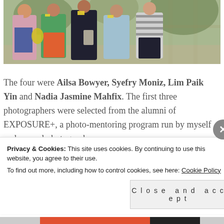[Figure (photo): Group photo of five people standing together outdoors, wearing conference lanyards and badges]
The four were Ailsa Bowyer, Syefry Moniz, Lim Paik Yin and Nadia Jasmine Mahfix. The first three photographers were selected from the alumni of EXPOSURE+, a photo-mentoring program run by myself and several photographers
Privacy & Cookies: This site uses cookies. By continuing to use this website, you agree to their use. To find out more, including how to control cookies, see here: Cookie Policy
Close and accept